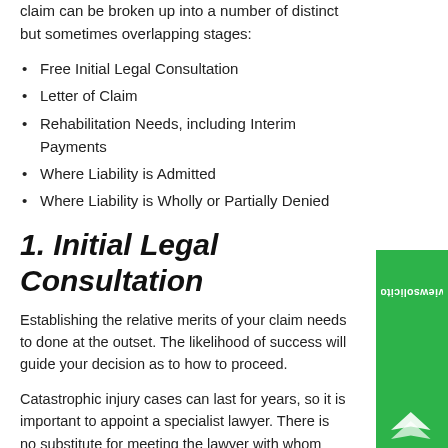claim can be broken up into a number of distinct but sometimes overlapping stages:
Free Initial Legal Consultation
Letter of Claim
Rehabilitation Needs, including Interim Payments
Where Liability is Admitted
Where Liability is Wholly or Partially Denied
1. Initial Legal Consultation
Establishing the relative merits of your claim needs to done at the outset. The likelihood of success will guide your decision as to how to proceed.
Catastrophic injury cases can last for years, so it is important to appoint a specialist lawyer. There is no substitute for meeting the lawyer with whom
[Figure (logo): reviewsolicitors logo on green sidebar]